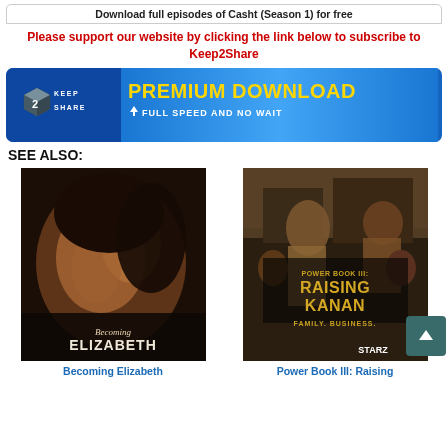Download full episodes of Casht (Season 1) for free
Please support our website by clicking the link below to subscribe to Keep2Share
[Figure (infographic): Keep2Share Premium Download banner — blue gradient background with Keep2Share logo on left and 'PREMIUM DOWNLOAD FULL SPEED AND NO WAIT' text in yellow/white on right]
SEE ALSO:
[Figure (photo): Movie/show poster for 'Becoming Elizabeth' — close-up of a young woman with eyes closed, dark dramatic lighting, text 'Becoming ELIZABETH' at bottom]
[Figure (photo): TV show poster for 'Power Book III: Raising Kanan' — group of characters, urban setting, STARZ network logo, yellow title text]
Becoming Elizabeth
Power Book III: Raising